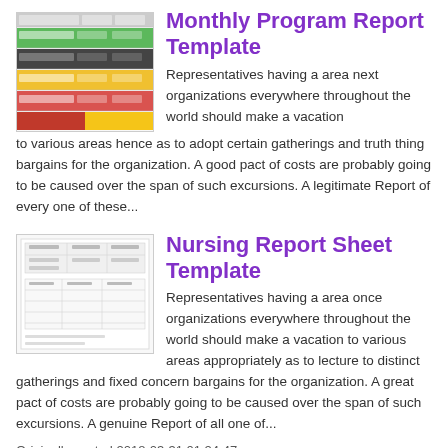[Figure (screenshot): Thumbnail of Monthly Program Report Template showing a colored spreadsheet with green, dark, yellow, and red rows]
Monthly Program Report Template
Representatives having a area next organizations everywhere throughout the world should make a vacation to various areas hence as to adopt certain gatherings and truth thing bargains for the organization. A good pact of costs are probably going to be caused over the span of such excursions. A legitimate Report of every one of these...
[Figure (screenshot): Thumbnail of Nursing Report Sheet Template showing a document with tables and form fields]
Nursing Report Sheet Template
Representatives having a area once organizations everywhere throughout the world should make a vacation to various areas appropriately as to lecture to distinct gatherings and fixed concern bargains for the organization. A great pact of costs are probably going to be caused over the span of such excursions. A genuine Report of all one of...
Originally posted 2018-03-31 01:24:47.
Posted in Report Template